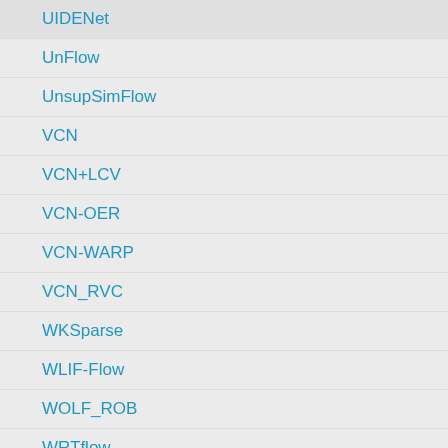UIDENet
UnFlow
UnsupSimFlow
VCN
VCN+LCV
VCN-OER
VCN-WARP
VCN_RVC
WKSparse
WLIF-Flow
WOLF_ROB
WRTflow
ZZZ
flownetnew
htjnewfull
htjwarp2
less_iteration
mask
metaFlow